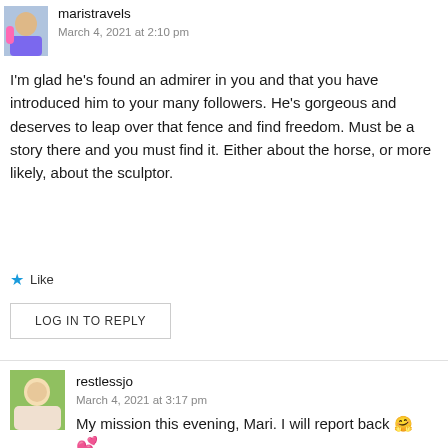[Figure (photo): Small avatar photo of user maristravels showing a woman in blue/pink clothing]
maristravels
March 4, 2021 at 2:10 pm
I'm glad he's found an admirer in you and that you have introduced him to your many followers. He's gorgeous and deserves to leap over that fence and find freedom. Must be a story there and you must find it. Either about the horse, or more likely, about the sculptor.
★ Like
LOG IN TO REPLY
[Figure (photo): Small avatar photo of user restlessjo showing a woman with blonde hair among greenery]
restlessjo
March 4, 2021 at 3:17 pm
My mission this evening, Mari. I will report back 🤗 💕
★ Liked by 1 person